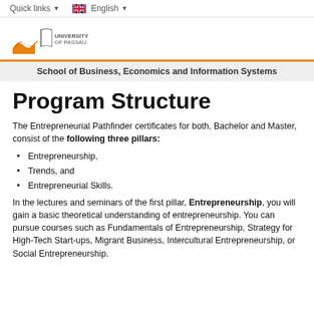Quick links   English
[Figure (logo): University of Passau logo with orange field/wave graphic and text 'UNIVERSITY OF PASSAU']
School of Business, Economics and Information Systems
Program Structure
The Entrepreneurial Pathfinder certificates for both, Bachelor and Master, consist of the following three pillars:
Entrepreneurship,
Trends, and
Entrepreneurial Skills.
In the lectures and seminars of the first pillar, Entrepreneurship, you will gain a basic theoretical understanding of entrepreneurship. You can pursue courses such as Fundamentals of Entrepreneurship, Strategy for High-Tech Start-ups, Migrant Business, Intercultural Entrepreneurship, or Social Entrepreneurship.